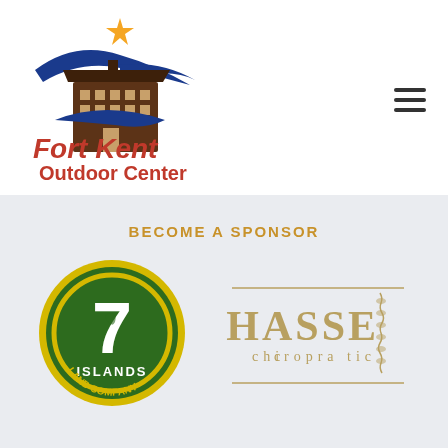[Figure (logo): Fort Kent Outdoor Center logo with blue swoosh, building illustration, star, and red text reading Fort Kent Outdoor Center]
[Figure (logo): Hamburger/menu icon - three horizontal lines]
BECOME A SPONSOR
[Figure (logo): 7 Islands Land Company circular green and yellow logo with large number 7]
[Figure (logo): Chasse Chiropractic logo with spine illustration and gold text]